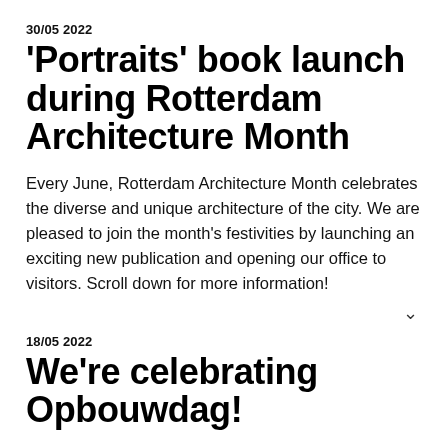30/05 2022
'Portraits' book launch during Rotterdam Architecture Month
Every June, Rotterdam Architecture Month celebrates the diverse and unique architecture of the city. We are pleased to join the month's festivities by launching an exciting new publication and opening our office to visitors. Scroll down for more information!
30/05 2022
We're celebrating Opbouwdag!